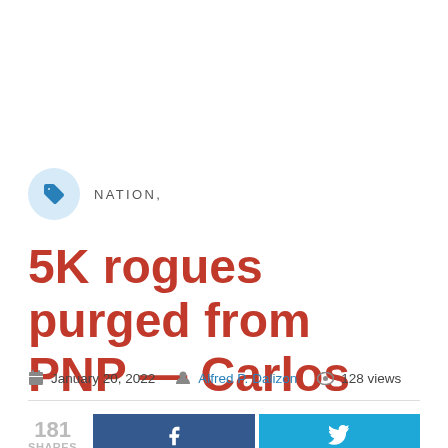[Figure (other): Category tag with light blue circle containing a blue tag icon, followed by the text NATION,]
5K rogues purged from PNP — Carlos
January 20, 2022   Alfred P. Dalizon   128 views
181 SHARES
[Figure (other): Facebook share button (dark blue with f icon) and Twitter share button (cyan with bird icon)]